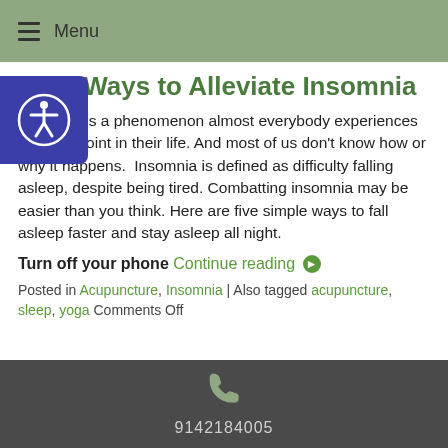≡ Menu
Five Ways to Alleviate Insomnia
Insomnia is a phenomenon almost everybody experiences at some point in their life. And most of us don't know how or why it happens.  Insomnia is defined as difficulty falling asleep, despite being tired. Combatting insomnia may be easier than you think. Here are five simple ways to fall asleep faster and stay asleep all night.
Turn off your phone Continue reading ➔
Posted in Acupuncture, Insomnia | Also tagged acupuncture, sleep, yoga Comments Off
9142184005